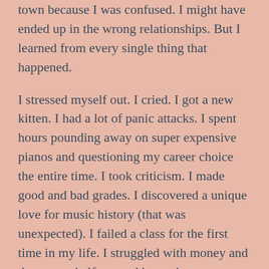town because I was confused. I might have ended up in the wrong relationships. But I learned from every single thing that happened.
I stressed myself out. I cried. I got a new kitten. I had a lot of panic attacks. I spent hours pounding away on super expensive pianos and questioning my career choice the entire time. I took criticism. I made good and bad grades. I discovered a unique love for music history (that was unexpected). I failed a class for the first time in my life. I struggled with money and then spent half a month's earnings on my first tattoo – because I wanted to. I made and lost friends. I worked long hours and went into debt for the first time.
Basically, the first few years of